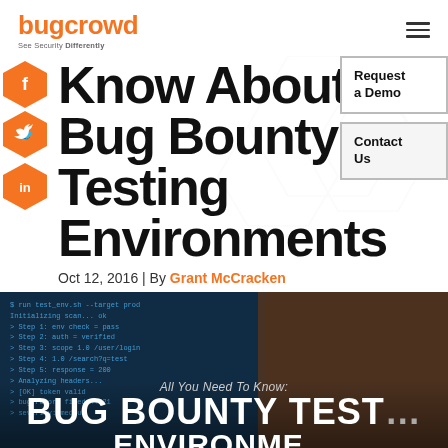bugcrowd — See Security Differently
Know About Bug Bounty Testing Environments
Oct 12, 2016 | By Grant McCracken
[Figure (screenshot): Dark screenshot of a code editor with text overlay reading 'All You Need To Know: BUG BOUNTY TESTING ENVIRONMENTS']